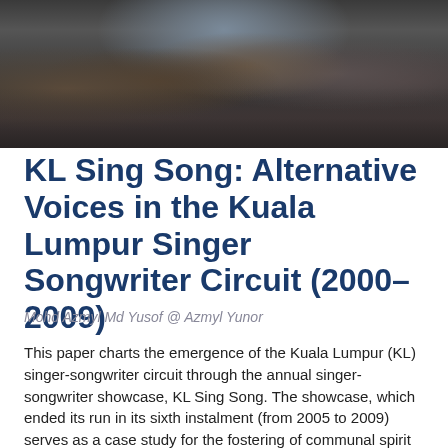[Figure (photo): Group of musicians performing together, with guitars and other instruments visible, dark indoor setting with multiple performers.]
KL Sing Song: Alternative Voices in the Kuala Lumpur Singer Songwriter Circuit (2000–2009)
Mohd Azmyl Md Yusof @ Azmyl Yunor
This paper charts the emergence of the Kuala Lumpur (KL) singer-songwriter circuit through the annual singer-songwriter showcase, KL Sing Song. The showcase, which ended its run in its sixth instalment (from 2005 to 2009) serves as a case study for the fostering of communal spirit amongst independent arts practitioners.